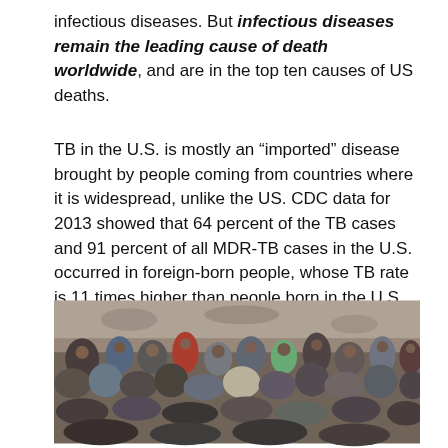infectious diseases. But infectious diseases remain the leading cause of death worldwide, and are in the top ten causes of US deaths.
TB in the U.S. is mostly an “imported” disease brought by people coming from countries where it is widespread, unlike the US. CDC data for 2013 showed that 64 percent of the TB cases and 91 percent of all MDR-TB cases in the U.S. occurred in foreign-born people, whose TB rate is 11 times higher than people born in the U.S.
[Figure (photo): A crowded room filled with many people, mostly sitting or lying on the floor close together, appearing to be migrants or detainees in a holding facility with concrete walls.]